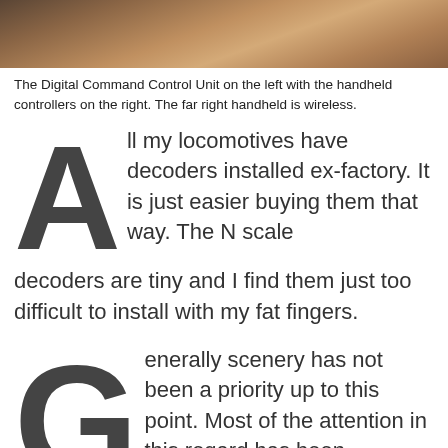[Figure (photo): A photo of the Digital Command Control Unit on the left with handheld controllers on the right, against a wooden/cardboard background.]
The Digital Command Control Unit on the left with the handheld controllers on the right. The far right handheld is wireless.
All my locomotives have decoders installed ex-factory. It is just easier buying them that way. The N scale decoders are tiny and I find them just too difficult to install with my fat fingers.
Generally scenery has not been a priority up to this point. Most of the attention in this regard has been